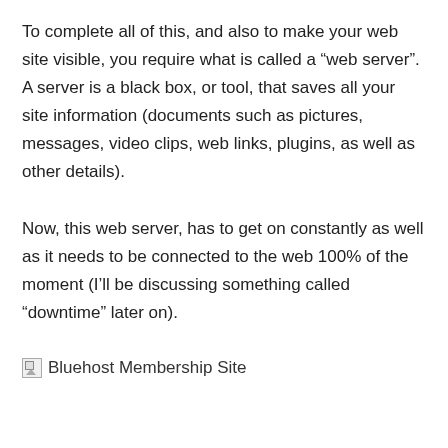To complete all of this, and also to make your web site visible, you require what is called a “web server”. A server is a black box, or tool, that saves all your site information (documents such as pictures, messages, video clips, web links, plugins, as well as other details).
Now, this web server, has to get on constantly as well as it needs to be connected to the web 100% of the moment (I’ll be discussing something called “downtime” later on).
[Figure (illustration): Broken image placeholder icon followed by the text 'Bluehost Membership Site']